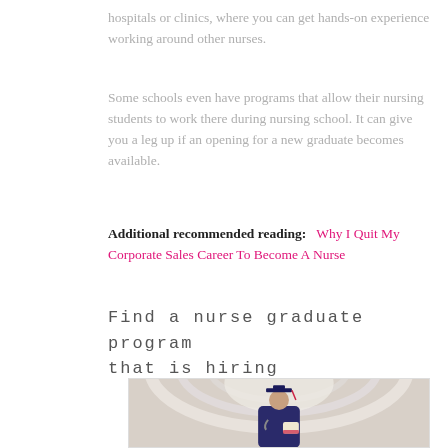hospitals or clinics, where you can get hands-on experience working around other nurses.
Some schools even have programs that allow their nursing students to work there during nursing school. It can give you a leg up if an opening for a new graduate becomes available.
Additional recommended reading:   Why I Quit My Corporate Sales Career To Become A Nurse
Find a nurse graduate program that is hiring
[Figure (photo): A male nursing graduate wearing a graduation cap and gown, holding a diploma, with a stethoscope around his neck, standing in a bright hallway-like interior.]